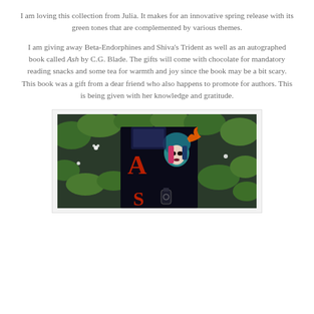I am loving this collection from Julia. It makes for an innovative spring release with its green tones that are complemented by various themes.
I am giving away Beta-Endorphines and Shiva's Trident as well as an autographed book called Ash by C.G. Blade. The gifts will come with chocolate for mandatory reading snacks and some tea for warmth and joy since the book may be a bit scary. This book was a gift from a dear friend who also happens to promote for authors. This is being given with her knowledge and gratitude.
[Figure (photo): Photo of a book titled 'Ash' with dark fantasy cover art showing a pale woman with teal hair and a hood, surrounded by green foliage and small white flowers, with a small ink bottle visible.]